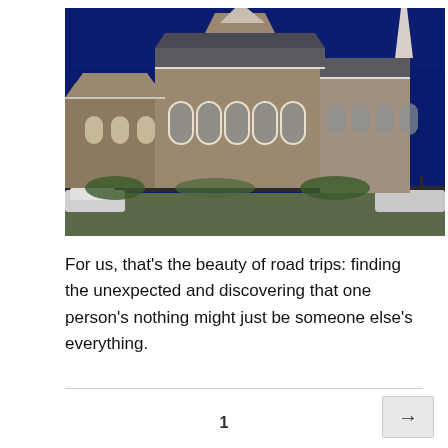[Figure (photo): Exterior photograph of a large Gothic-style stone church with ornate white trim, arched windows, a steep dark slate roof, and a tall white spire on the right side. The building is photographed against a deep blue sky, with a black iron fence in the foreground and parked cars visible at the edges.]
For us, that's the beauty of road trips: finding the unexpected and discovering that one person's nothing might just be someone else's everything.
1